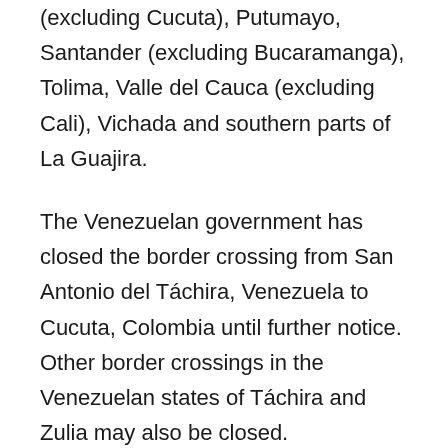(excluding Cucuta), Putumayo, Santander (excluding Bucaramanga), Tolima, Valle del Cauca (excluding Cali), Vichada and southern parts of La Guajira.
The Venezuelan government has closed the border crossing from San Antonio del Táchira, Venezuela to Cucuta, Colombia until further notice. Other border crossings in the Venezuelan states of Táchira and Zulia may also be closed.
Colombia ranks 126 out of 180 nations on Reporters Without Borders' global Press Freedom Index.
July 17, 2015
The hearing for Mario Jaimes Mejia in the 2000 kidnapping of journalist Jineth Bedoya has been